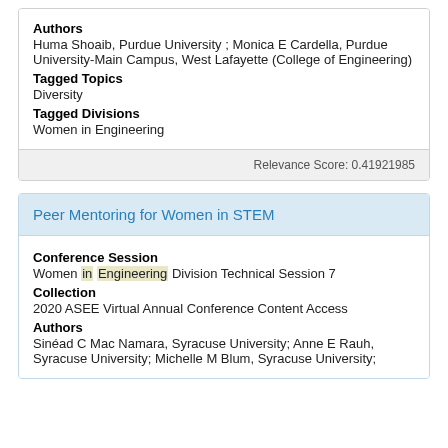Authors
Huma Shoaib, Purdue University ; Monica E Cardella, Purdue University-Main Campus, West Lafayette (College of Engineering)
Tagged Topics
Diversity
Tagged Divisions
Women in Engineering
Relevance Score: 0.41921985
Peer Mentoring for Women in STEM
Conference Session
Women in Engineering Division Technical Session 7
Collection
2020 ASEE Virtual Annual Conference Content Access
Authors
Sinéad C Mac Namara, Syracuse University; Anne E Rauh, Syracuse University; Michelle M Blum, Syracuse University;